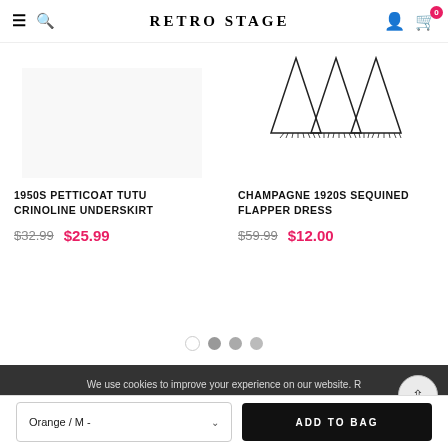RETRO STAGE
1950S PETTICOAT TUTU CRINOLINE UNDERSKIRT
$32.99  $25.99
CHAMPAGNE 1920S SEQUINED FLAPPER DRESS
$59.99  $12.00
We use cookies to improve your experience on our website. Read about how we use cookies in our Privacy Policy. By browsing this website, you agree to our use of cookies.
PRIVACY POLICY
ACCEPT ✓
Orange / M -
ADD TO BAG